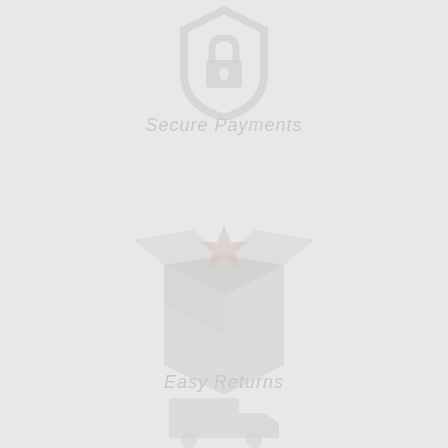[Figure (illustration): Faint light gray shield/lock icon at top center, partially cropped]
Secure Payments
[Figure (illustration): Faint light gray open box/package icon in center of page]
Easy Returns
[Figure (illustration): Faint light gray icon at bottom center, partially cropped]